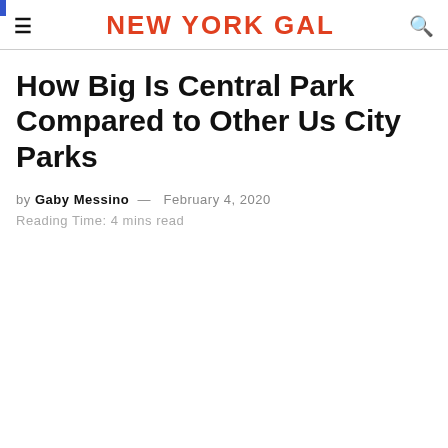NEW YORK GAL
How Big Is Central Park Compared to Other Us City Parks
by Gaby Messino — February 4, 2020
Reading Time: 4 mins read